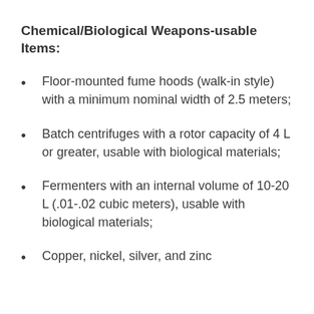Chemical/Biological Weapons-usable Items:
Floor-mounted fume hoods (walk-in style) with a minimum nominal width of 2.5 meters;
Batch centrifuges with a rotor capacity of 4 L or greater, usable with biological materials;
Fermenters with an internal volume of 10-20 L (.01-.02 cubic meters), usable with biological materials;
Copper, nickel, silver, and zinc